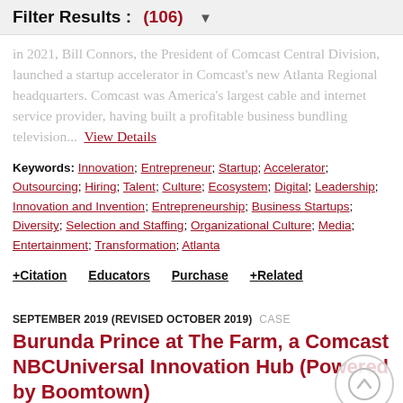Filter Results : (106)
...launched a startup accelerator in Comcast's new Atlanta Regional headquarters. Comcast was America's largest cable and internet service provider, having built a profitable business bundling television...  View Details
Keywords: Innovation; Entrepreneur; Startup; Accelerator; Outsourcing; Hiring; Talent; Culture; Ecosystem; Digital; Leadership; Innovation and Invention; Entrepreneurship; Business Startups; Diversity; Selection and Staffing; Organizational Culture; Media; Entertainment; Transformation; Atlanta
+Citation   Educators   Purchase   +Related
SEPTEMBER 2019 (REVISED OCTOBER 2019)  CASE
Burunda Prince at The Farm, a Comcast NBCUniversal Innovation Hub (Powered by Boomtown)